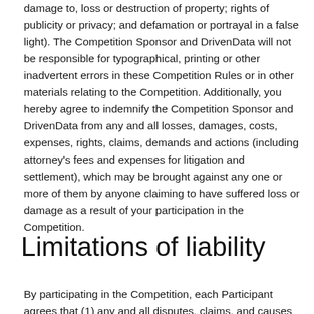damage to, loss or destruction of property; rights of publicity or privacy; and defamation or portrayal in a false light). The Competition Sponsor and DrivenData will not be responsible for typographical, printing or other inadvertent errors in these Competition Rules or in other materials relating to the Competition. Additionally, you hereby agree to indemnify the Competition Sponsor and DrivenData from any and all losses, damages, costs, expenses, rights, claims, demands and actions (including attorney's fees and expenses for litigation and settlement), which may be brought against any one or more of them by anyone claiming to have suffered loss or damage as a result of your participation in the Competition.
Limitations of liability
By participating in the Competition, each Participant agrees that (1) any and all disputes, claims, and causes of action